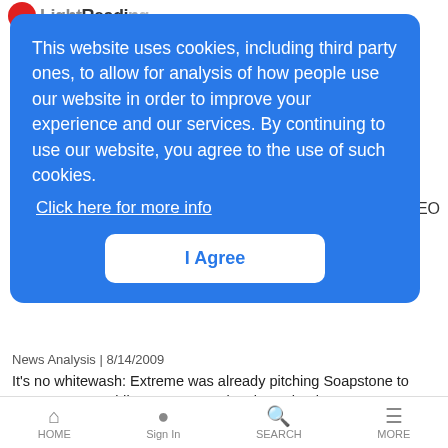LightReading
This website uses cookies, including third party ones, to allow for analysis of how people use our website in order to improve your experience and our services. By continuing to use our website, you agree to the use of such cookies.
Click here for more info
I Agree
and CEO
News Analysis | 8/14/2009
It's no whitewash: Extreme was already pitching Soapstone to customers, providing a reason to buy its technology
Verizon Makes LTE Connection in Boston & Seattle
LR Mobile News Analysis | 8/14/2009
Live data connections achieved for the first time at Verizon's test sites in
HOME | Sign In | SEARCH | MORE